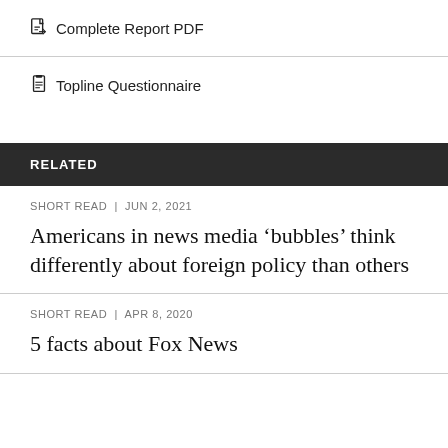Complete Report PDF
Topline Questionnaire
RELATED
SHORT READ | JUN 2, 2021
Americans in news media ‘bubbles’ think differently about foreign policy than others
SHORT READ | APR 8, 2020
5 facts about Fox News